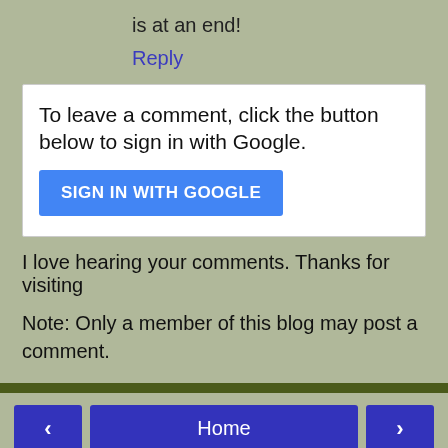is at an end!
Reply
To leave a comment, click the button below to sign in with Google.
SIGN IN WITH GOOGLE
I love hearing your comments. Thanks for visiting
Note: Only a member of this blog may post a comment.
Home
View web version
BETH
Beth
Maine, United States